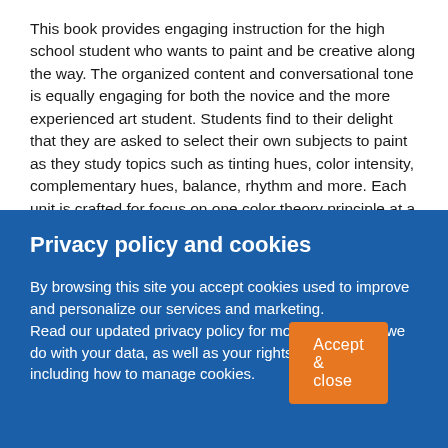This book provides engaging instruction for the high school student who wants to paint and be creative along the way. The organized content and conversational tone is equally engaging for both the novice and the more experienced art student. Students find to their delight that they are asked to select their own subjects to paint as they study topics such as tinting hues, color intensity, complementary hues, balance, rhythm and more. Each unit is crafted for focus on one color theory principle at a time while exploring the topic in four unique ways.
Privacy policy and cookies
By browsing this site you accept cookies used to improve and personalize our services and marketing. Read our updated privacy policy for more about what we do with your data, as well as your rights and choices - including how to manage cookies.
Accept & close